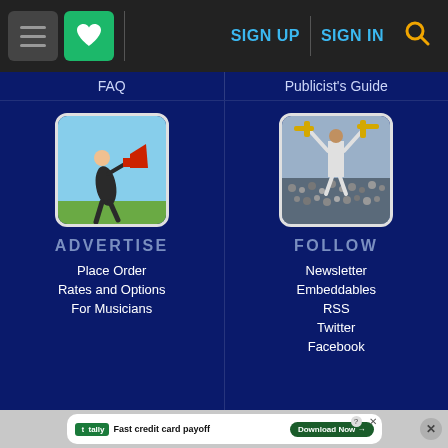Navigation bar with hamburger menu, heart/favorites button, SIGN UP, SIGN IN, and search icon
FAQ
Publicist's Guide
[Figure (photo): Person in suit with red megaphone standing on grass against blue sky]
[Figure (photo): Musician with trombone raised above a large outdoor crowd]
ADVERTISE
FOLLOW
Place Order
Rates and Options
For Musicians
Newsletter
Embeddables
RSS
Twitter
Facebook
Tally — Fast credit card payoff — Download Now